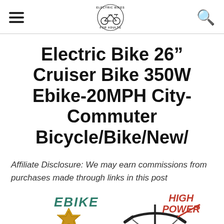Electric Bikes For Adults [logo] [hamburger menu] [search icon]
Electric Bike 26" Cruiser Bike 350W Ebike-20MPH City-Commuter Bicycle/Bike/New/
Affiliate Disclosure: We may earn commissions from purchases made through links in this post
[Figure (photo): Product image of electric bike showing EBIKE branding in teal, HIGH POWER label in red italic, a Top Seller badge, and the handlebars/front portion of a black electric cruiser bike]